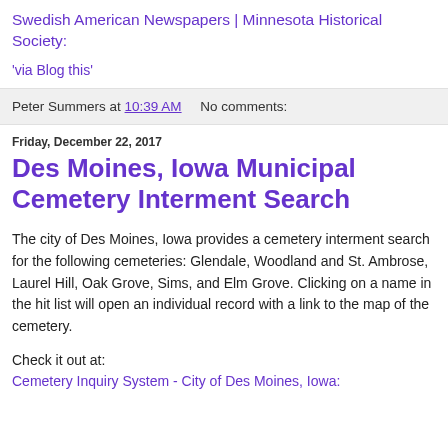Swedish American Newspapers | Minnesota Historical Society:
'via Blog this'
Peter Summers at 10:39 AM     No comments:
Friday, December 22, 2017
Des Moines, Iowa Municipal Cemetery Interment Search
The city of Des Moines, Iowa provides a cemetery interment search for the following cemeteries: Glendale, Woodland and St. Ambrose, Laurel Hill, Oak Grove, Sims, and Elm Grove. Clicking on a name in the hit list will open an individual record with a link to the map of the cemetery.
Check it out at:
Cemetery Inquiry System - City of Des Moines, Iowa: